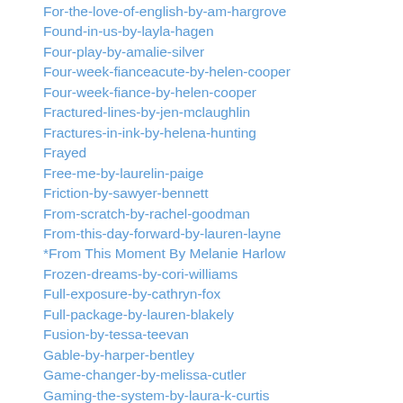For-the-love-of-english-by-am-hargrove
Found-in-us-by-layla-hagen
Four-play-by-amalie-silver
Four-week-fianceacute-by-helen-cooper
Four-week-fiance-by-helen-cooper
Fractured-lines-by-jen-mclaughlin
Fractures-in-ink-by-helena-hunting
Frayed
Free-me-by-laurelin-paige
Friction-by-sawyer-bennett
From-scratch-by-rachel-goodman
From-this-day-forward-by-lauren-layne
*From This Moment By Melanie Harlow
Frozen-dreams-by-cori-williams
Full-exposure-by-cathryn-fox
Full-package-by-lauren-blakely
Fusion-by-tessa-teevan
Gable-by-harper-bentley
Game-changer-by-melissa-cutler
Gaming-the-system-by-laura-k-curtis
Garrett-by-sawyer-bennett
*Gentleman Nine By Penelope Ward